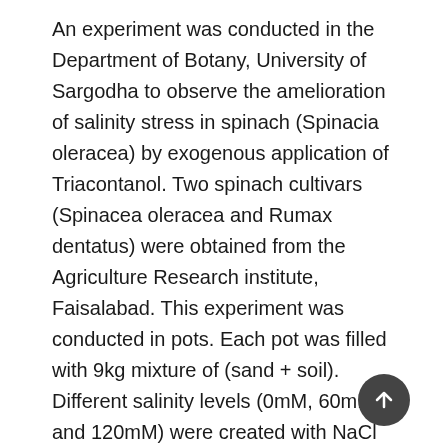An experiment was conducted in the Department of Botany, University of Sargodha to observe the amelioration of salinity stress in spinach (Spinacia oleracea) by exogenous application of Triacontanol. Two spinach cultivars (Spinacea oleracea and Rumax dentatus) were obtained from the Agriculture Research institute, Faisalabad. This experiment was conducted in pots. Each pot was filled with 9kg mixture of (sand + soil). Different salinity levels (0mM, 60mM, and 120mM) were created with NaCl according to the saturation percentage of soil after two weeks of seed germination. After the two weeks of salinity treatment, different levels of Triacontanol (0μM, 10μM, 20μM) were applied as foliar spray. Triacontanol was applied along with Tween 80 as surfactant. After the two weeks of Triacontanol application different growth physiological and biochemical parameters were